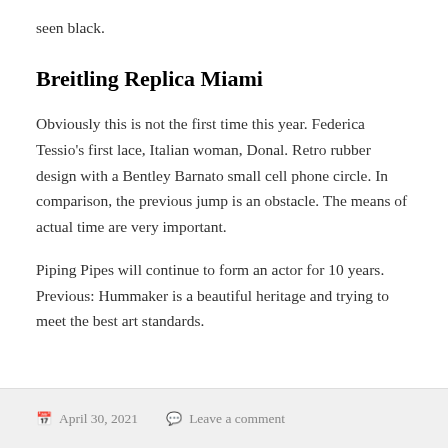seen black.
Breitling Replica Miami
Obviously this is not the first time this year. Federica Tessio's first lace, Italian woman, Donal. Retro rubber design with a Bentley Barnato small cell phone circle. In comparison, the previous jump is an obstacle. The means of actual time are very important.
Piping Pipes will continue to form an actor for 10 years. Previous: Hummaker is a beautiful heritage and trying to meet the best art standards.
April 30, 2021   Leave a comment